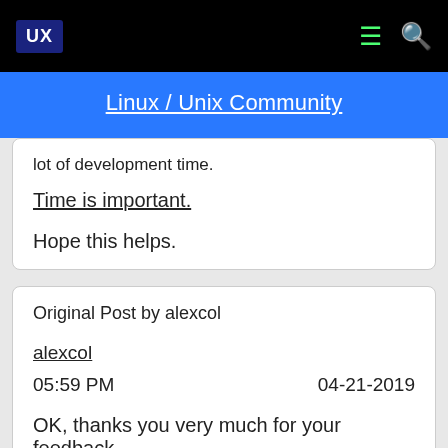UX | Linux / Unix Community
lot of development time.
Time is important.
Hope this helps.
Original Post by alexcol
alexcol
05:59 PM    04-21-2019
OK, thanks you very much for your feedback